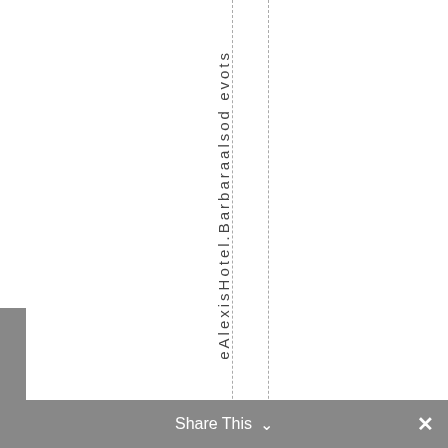eAlexisHotel.Barbaraalsod evots
Share This ∨ ✕